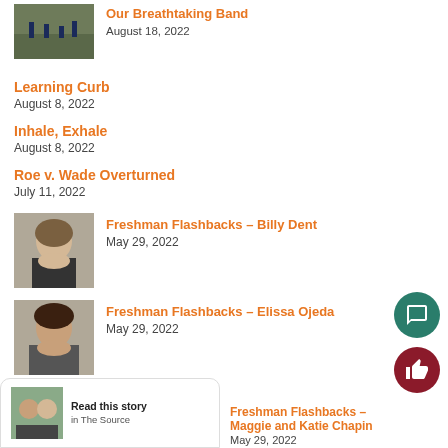Our Breathtaking Band — August 18, 2022
Learning Curb — August 8, 2022
Inhale, Exhale — August 8, 2022
Roe v. Wade Overturned — July 11, 2022
Freshman Flashbacks – Billy Dent — May 29, 2022
Freshman Flashbacks – Elissa Ojeda — May 29, 2022
Freshman Flashbacks – Maggie and Katie Chapin — May 29, 2022